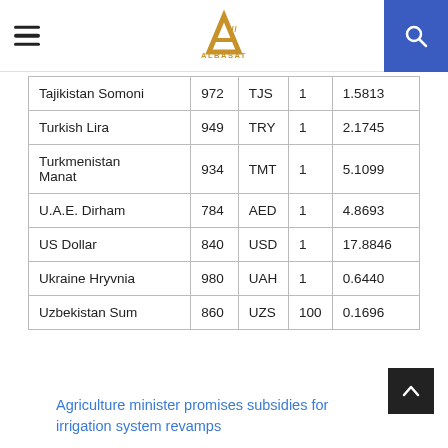AlBasat - navigation header with logo and search
| Tajikistan Somoni | 972 | TJS | 1 | 1.5813 |
| Turkish Lira | 949 | TRY | 1 | 2.1745 |
| Turkmenistan Manat | 934 | TMT | 1 | 5.1099 |
| U.A.E. Dirham | 784 | AED | 1 | 4.8693 |
| US Dollar | 840 | USD | 1 | 17.8846 |
| Ukraine Hryvnia | 980 | UAH | 1 | 0.6440 |
| Uzbekistan Sum | 860 | UZS | 100 | 0.1696 |
Agriculture minister promises subsidies for irrigation system revamps